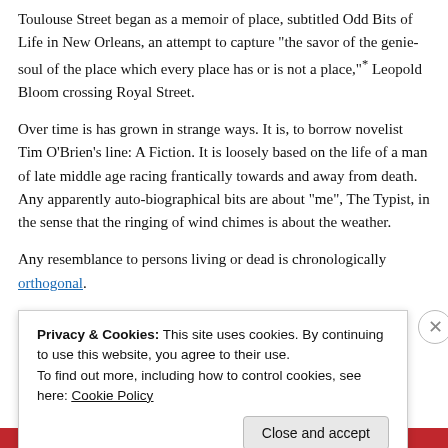Toulouse Street began as a memoir of place, subtitled Odd Bits of Life in New Orleans, an attempt to capture "the savor of the genie-soul of the place which every place has or is not a place,"* Leopold Bloom crossing Royal Street.
Over time is has grown in strange ways. It is, to borrow novelist Tim O'Brien's line: A Fiction. It is loosely based on the life of a man of late middle age racing frantically towards and away from death. Any apparently auto-biographical bits are about "me", The Typist, in the sense that the ringing of wind chimes is about the weather.
Any resemblance to persons living or dead is chronologically orthogonal.
Odd Words was birthed in 2010 as a prominent feature when the local
Privacy & Cookies: This site uses cookies. By continuing to use this website, you agree to their use.
To find out more, including how to control cookies, see here: Cookie Policy